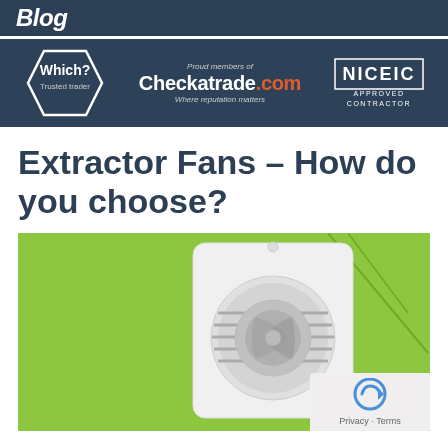Blog
[Figure (logo): Which? Trusted Trader, Checkatrade.com, and NICEIC Approved Contractor logos on dark blue bar]
Extractor Fans – How do you choose?
[Figure (photo): White square extractor fan mounted on a green wall with pull cord, close-up view]